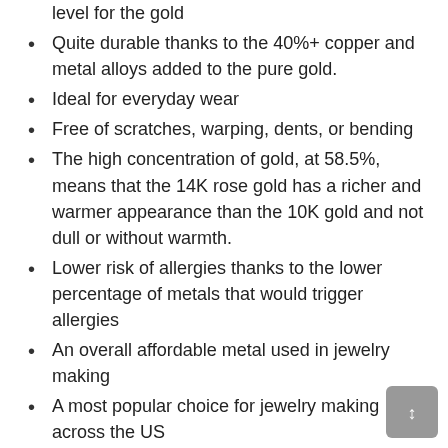level for the gold
Quite durable thanks to the 40%+ copper and metal alloys added to the pure gold.
Ideal for everyday wear
Free of scratches, warping, dents, or bending
The high concentration of gold, at 58.5%, means that the 14K rose gold has a richer and warmer appearance than the 10K gold and not dull or without warmth.
Lower risk of allergies thanks to the lower percentage of metals that would trigger allergies
An overall affordable metal used in jewelry making
A most popular choice for jewelry making across the US